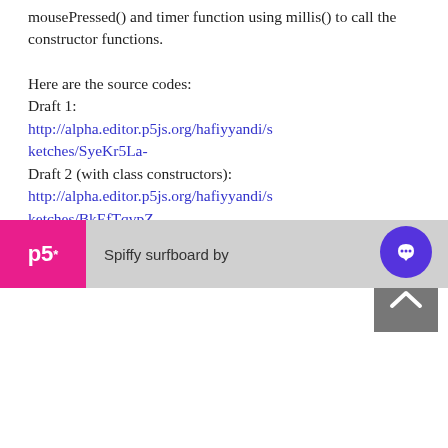mousePressed() and timer function using millis() to call the constructor functions.
Here are the source codes:
Draft 1:
http://alpha.editor.p5js.org/hafiyyandi/sketches/SyeKr5La-
Draft 2 (with class constructors):
http://alpha.editor.p5js.org/hafiyyandi/sketches/BkEfTqvpZ
!! Additional Notes : DOM Element
p5* Spiffy surfboard by